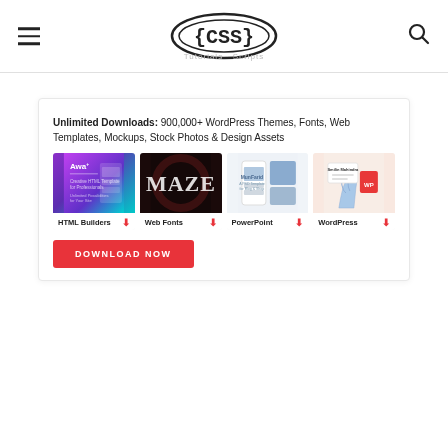{CSS}
Wall Mockup PSD
Unlimited Downloads: 900,000+ WordPress Themes, Fonts, Web Templates, Mockups, Stock Photos & Design Assets
[Figure (screenshot): Four category cards: HTML Builders, Web Fonts, PowerPoint, WordPress, each with a thumbnail image and download icon]
DOWNLOAD NOW